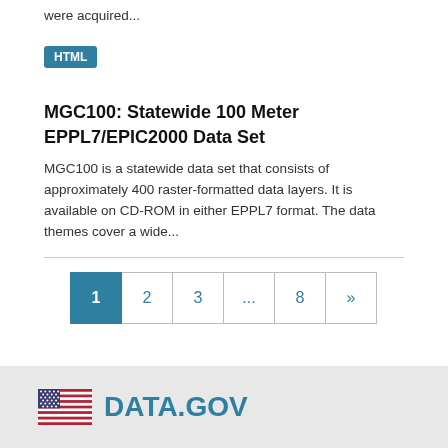were acquired...
HTML
MGC100: Statewide 100 Meter EPPL7/EPIC2000 Data Set
MGC100 is a statewide data set that consists of approximately 400 raster-formatted data layers. It is available on CD-ROM in either EPPL7 format. The data themes cover a wide...
1 2 3 ... 8 »
[Figure (logo): DATA.GOV logo with American flag icon]